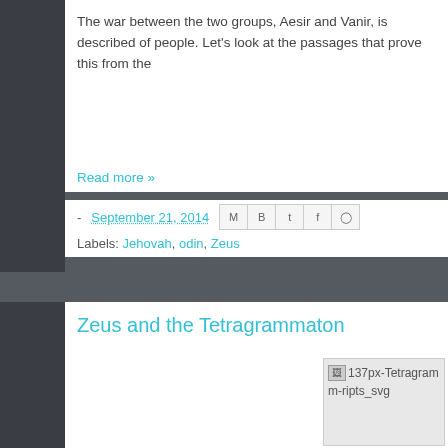The war between the two groups, Aesir and Vanir, is described of people.  Let's look at the passages that prove this from the
Read more »
- September 21, 2014
Labels: Jehovah, odin, Zeus
Zeus and the Tetragrammaton
[Figure (photo): Broken image placeholder labeled '137px-Tetragramm-ripts_svg']